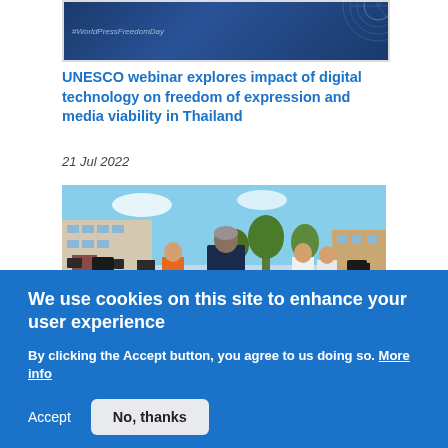[Figure (photo): Partial view of a banner with #WorldPressFreedomDay text on dark blue background with decorative circular pattern]
UNESCO webinar explores impact of digital technology on freedom of expression and media viability in Thailand
21 Jul 2022
[Figure (photo): Outdoor scene with group of journalists and UNESCO official wearing a dark jacket with UNESCO logo on back, surrounded by camera crews and people in white shirts, buildings and trees in background]
We use cookies on this site to enhance your user experience
By clicking the Accept button, you agree to us doing so. More info
Accept  No, thanks